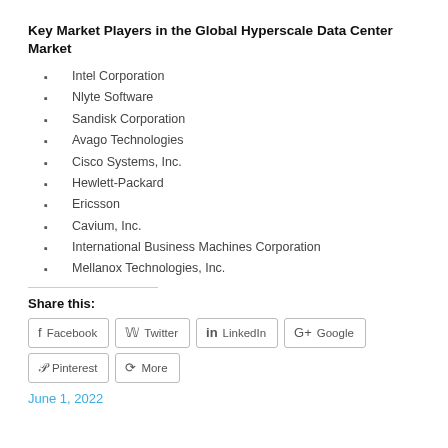Key Market Players in the Global Hyperscale Data Center Market
Intel Corporation
Nlyte Software
Sandisk Corporation
Avago Technologies
Cisco Systems, Inc.
Hewlett-Packard
Ericsson
Cavium, Inc.
International Business Machines Corporation
Mellanox Technologies, Inc.
Share this:
Facebook  Twitter  LinkedIn  Google  Pinterest  More
June 1, 2022